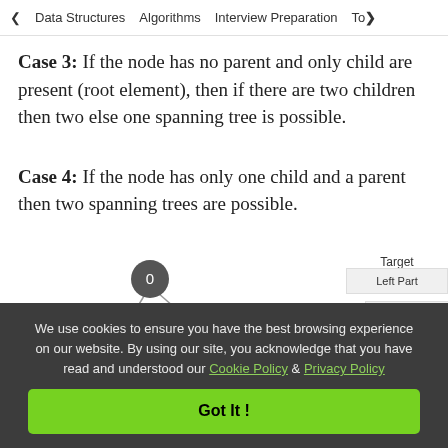< Data Structures   Algorithms   Interview Preparation   To>
Case 3: If the node has no parent and only child are present (root element), then if there are two children then two else one spanning tree is possible.
Case 4: If the node has only one child and a parent then two spanning trees are possible.
[Figure (other): Partial diagram showing tree nodes with circles labeled 0, Target Element labels, and Left Part legend box. The diagram is cropped at the bottom.]
We use cookies to ensure you have the best browsing experience on our website. By using our site, you acknowledge that you have read and understood our Cookie Policy & Privacy Policy
Got It !